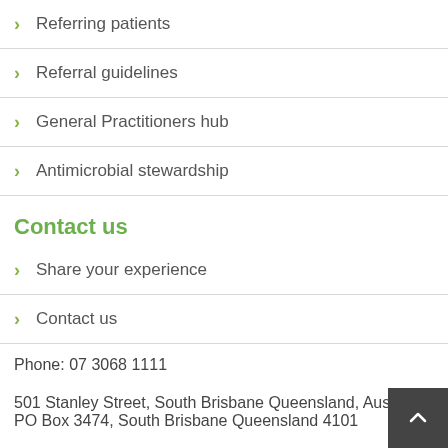Referring patients
Referral guidelines
General Practitioners hub
Antimicrobial stewardship
Contact us
Share your experience
Contact us
Phone: 07 3068 1111
501 Stanley Street, South Brisbane Queensland, Australia
PO Box 3474, South Brisbane Queensland 4101